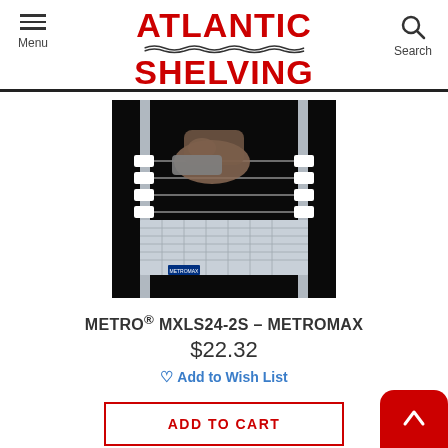Atlantic Shelving — Menu / Search header
[Figure (photo): Person assembling or adjusting a Metro MetroMax wire shelving rack, dark background, close-up of hands on shelf connectors]
METRO® MXLS24-2S – METROMAX
$22.32
Add to Wish List
ADD TO CART